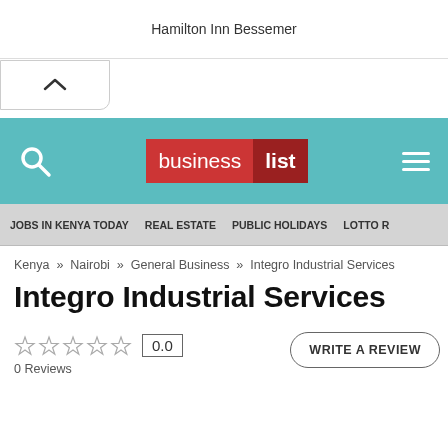Hamilton Inn Bessemer
[Figure (screenshot): Up/chevron navigation button]
[Figure (logo): business list logo on teal navigation bar with search icon and hamburger menu]
JOBS IN KENYA TODAY   REAL ESTATE   PUBLIC HOLIDAYS   LOTTO R
Kenya » Nairobi » General Business » Integro Industrial Services
Integro Industrial Services
0 Reviews
0.0
WRITE A REVIEW